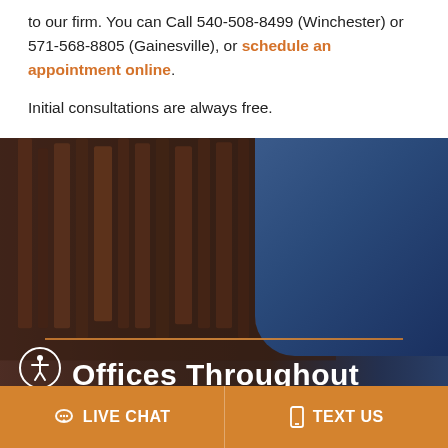to our firm. You can Call 540-508-8499 (Winchester) or 571-568-8805 (Gainesville), or schedule an appointment online.
Initial consultations are always free.
[Figure (photo): Blurred bookshelf background with a person in a blue suit visible on the right side, with an orange decorative line across the middle, an accessibility icon in the bottom-left circle, and the text 'Offices Throughout' in large white bold font.]
LIVE CHAT
TEXT US